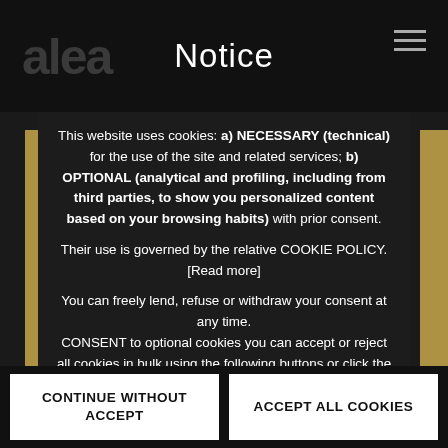Notice
This website uses cookies: a) NECESSARY (technical) for the use of the site and related services; b) OPTIONAL (analytical and profiling, including from third parties, to show you personalized content based on your browsing habits) with prior consent.
Their use is governed by the relative COOKIE POLICY. [Read more]
You can freely lend, refuse or withdraw your consent at any time. CONSENT to optional cookies you can accept or reject all cookies in bulk using the following buttons or click the SETTINGS link; if you close the banner you will only use technical cookies.
CONTINUE WITHOUT ACCEPT
ACCEPT ALL COOKIES